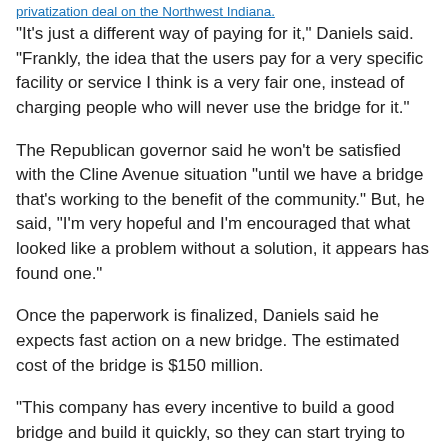privatization deal on the Northwest Indiana.
"It's just a different way of paying for it," Daniels said. "Frankly, the idea that the users pay for a very specific facility or service I think is a very fair one, instead of charging people who will never use the bridge for it."
The Republican governor said he won't be satisfied with the Cline Avenue situation "until we have a bridge that's working to the benefit of the community." But, he said, "I'm very hopeful and I'm encouraged that what looked like a problem without a solution, it appears has found one."
Once the paperwork is finalized, Daniels said he expects fast action on a new bridge. The estimated cost of the bridge is $150 million.
"This company has every incentive to build a good bridge and build it quickly, so they can start trying to get their money back," Daniels said.
Republican U.S. Rep. Mike Pence, who is